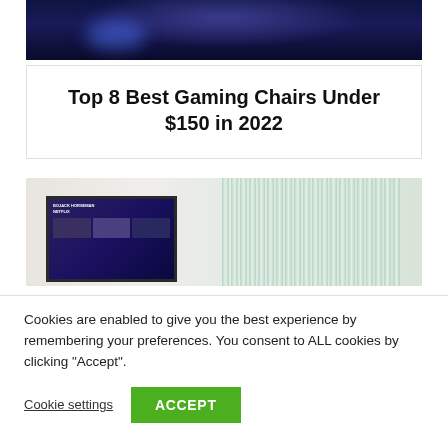[Figure (photo): Dark gaming room scene with gaming chairs, blue lighting accents]
Top 8 Best Gaming Chairs Under $150 in 2022
[Figure (photo): Living room scene with a TV showing Bojack Horseman Netflix interface, white curtain blinds in background]
Cookies are enabled to give you the best experience by remembering your preferences. You consent to ALL cookies by clicking "Accept".
Cookie settings
ACCEPT